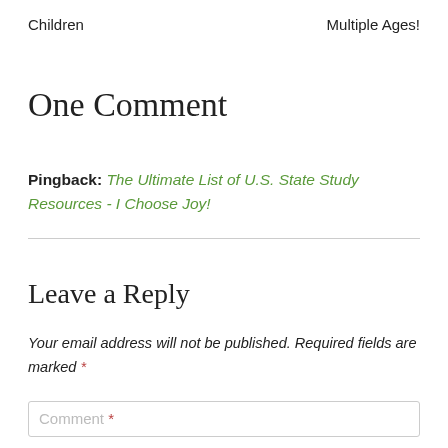Children                                          Multiple Ages!
One Comment
Pingback: The Ultimate List of U.S. State Study Resources - I Choose Joy!
Leave a Reply
Your email address will not be published. Required fields are marked *
Comment *